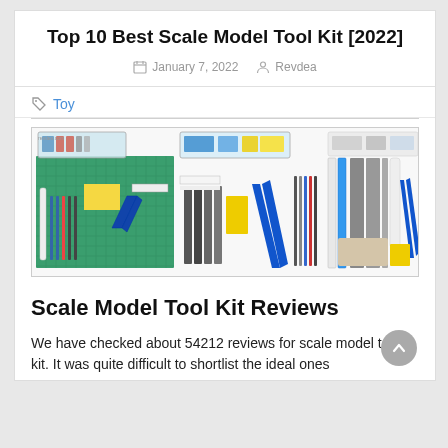Top 10 Best Scale Model Tool Kit [2022]
January 7, 2022   Revdea
Toy
[Figure (photo): Product image showing a scale model tool kit with various tools including cutting mats, pliers, files, tweezers, and other modeling tools laid out on a white background]
Scale Model Tool Kit Reviews
We have checked about 54212 reviews for scale model tool kit. It was quite difficult to shortlist the ideal ones